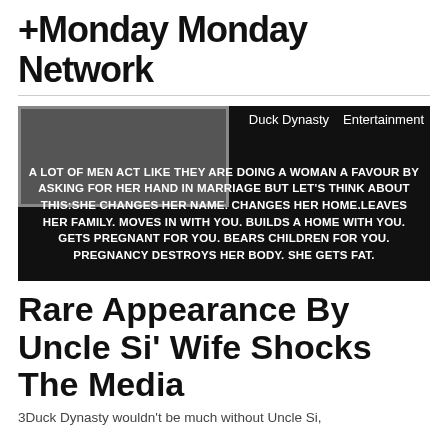Monday Monday Network
[Figure (screenshot): Dark background image with white bold uppercase text reading: A LOT OF MEN ACT LIKE THEY ARE DOING A WOMAN A FAVOUR BY ASKING FOR HER HAND IN MARRIAGE BUT LET'S THINK ABOUT THIS:SHE CHANGES HER NAME. CHANGES HER HOME.LEAVES HER FAMILY. MOVES IN WITH YOU. BUILDS A HOME WITH YOU. GETS PREGNANT FOR YOU. BEARS CHILDREN FOR YOU. PREGNANCY DESTROYS HER BODY. SHE GETS FAT. Tags visible: Duck Dynasty, Entertainment]
Rare Appearance By Uncle Si' Wife Shocks The Media
3Duck Dynasty wouldn't be much without Uncle Si,